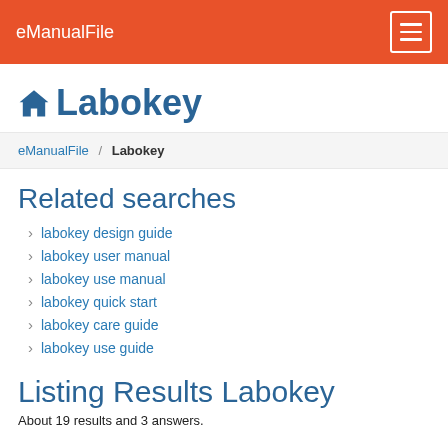eManualFile
Labokey
eManualFile / Labokey
Related searches
labokey design guide
labokey user manual
labokey use manual
labokey quick start
labokey care guide
labokey use guide
Listing Results Labokey
About 19 results and 3 answers.